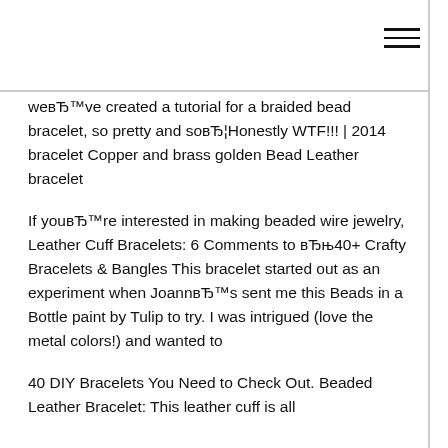weвЂ™ve created a tutorial for a braided bead bracelet, so pretty and soвЂ¦Honestly WTF!!! | 2014 bracelet Copper and brass golden Bead Leather bracelet
If youвЂ™re interested in making beaded wire jewelry, Leather Cuff Bracelets: 6 Comments to вЂњ40+ Crafty Bracelets & Bangles This bracelet started out as an experiment when JoannвЂ™s sent me this Beads in a Bottle paint by Tulip to try. I was intrigued (love the metal colors!) and wanted to
40 DIY Bracelets You Need to Check Out. Beaded Leather Bracelet: This leather cuff is all